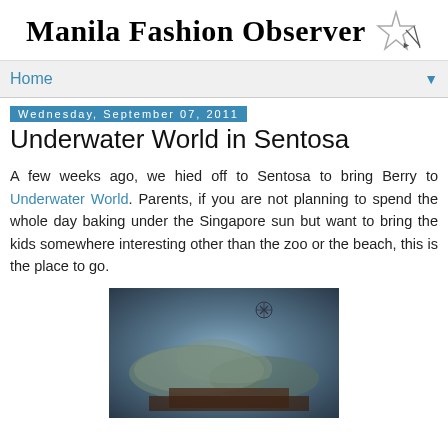Manila Fashion Observer
Home
Wednesday, September 07, 2011
Underwater World in Sentosa
A few weeks ago, we hied off to Sentosa to bring Berry to Underwater World. Parents, if you are not planning to spend the whole day baking under the Singapore sun but want to bring the kids somewhere interesting other than the zoo or the beach, this is the place to go.
[Figure (photo): Photo of underwater creatures, likely rays or flat fish, viewed through glass at Underwater World Sentosa]